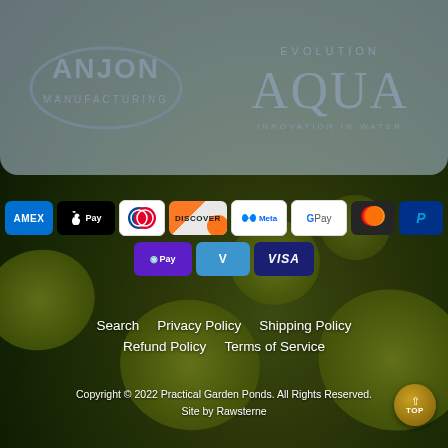[Figure (logo): Anjon Manufacturing logo and Evolution Aqua Innovation in Water logo side by side on a semi-transparent blue-grey panel over a pond background]
[Figure (infographic): Payment method badges: American Express, Apple Pay, Diners Club, Discover, Meta Pay, Google Pay, Mastercard, PayPal, OPay, Venmo, Visa]
Search    Privacy Policy    Shipping Policy
Refund Policy    Terms of Service
Copyright © 2022 Practical Garden Ponds. All Rights Reserved.
Site by Rawsterne